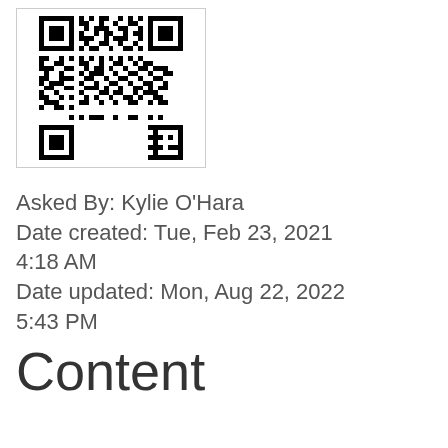[Figure (other): QR code image]
Asked By: Kylie O'Hara
Date created: Tue, Feb 23, 2021 4:18 AM
Date updated: Mon, Aug 22, 2022 5:43 PM
Content